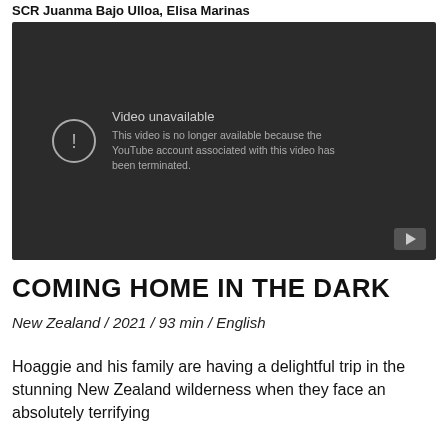SCR Juanma Bajo Ulloa, Elisa Marinas
[Figure (screenshot): Embedded YouTube video player showing 'Video unavailable' error message. Dark background with a circle exclamation icon and text: 'Video unavailable. This video is no longer available because the YouTube account associated with this video has been terminated.' A play button icon is visible in the bottom right corner.]
COMING HOME IN THE DARK
New Zealand / 2021 / 93 min / English
Hoaggie and his family are having a delightful trip in the stunning New Zealand wilderness when they face an absolutely terrifying...